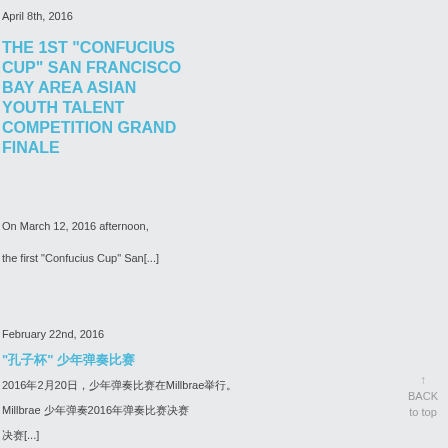April 8th, 2016
THE 1ST “CONFUCIUS CUP” SAN FRANCISCO BAY AREA ASIAN YOUTH TALENT COMPETITION GRAND FINALE
On March 12, 2016 afternoon,
the first “Confucius Cup” San[...]
February 22nd, 2016
“孔子杯” 少年弹奏比赛
2016年2月20日，少年弹奏比赛在Millbrae举行。
Millbrae 少年弹奏2016年弹奏比赛决赛
决赛[...]
BACK to top